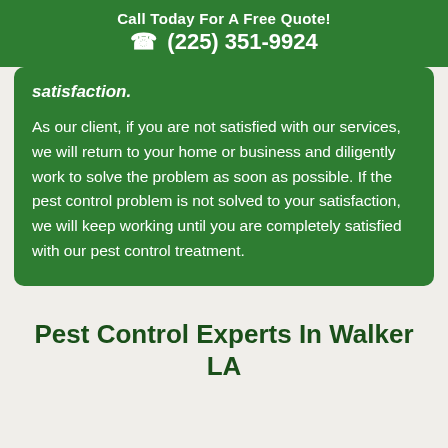Call Today For A Free Quote!
☎ (225) 351-9924
satisfaction.
As our client, if you are not satisfied with our services, we will return to your home or business and diligently work to solve the problem as soon as possible. If the pest control problem is not solved to your satisfaction, we will keep working until you are completely satisfied with our pest control treatment.
Pest Control Experts In Walker LA